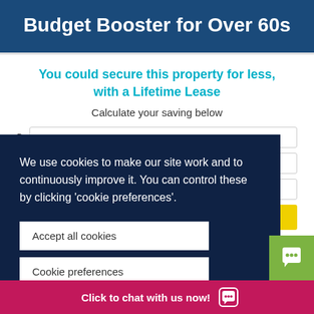Budget Booster for Over 60s
You could secure this property for less, with a Lifetime Lease
Calculate your saving below
We use cookies to make our site work and to continuously improve it. You can control these by clicking 'cookie preferences'.
Accept all cookies
Cookie preferences
Powered by
Click to chat with us now!